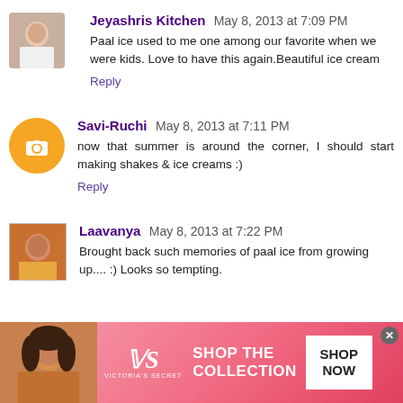Jeyashris Kitchen May 8, 2013 at 7:09 PM
Paal ice used to me one among our favorite when we were kids. Love to have this again.Beautiful ice cream
Reply
Savi-Ruchi May 8, 2013 at 7:11 PM
now that summer is around the corner, I should start making shakes & ice creams :)
Reply
Laavanya May 8, 2013 at 7:22 PM
Brought back such memories of paal ice from growing up.... :) Looks so tempting.
[Figure (screenshot): Victoria's Secret advertisement banner with pink background, model photo, VS logo, 'SHOP THE COLLECTION' text, and 'SHOP NOW' button]